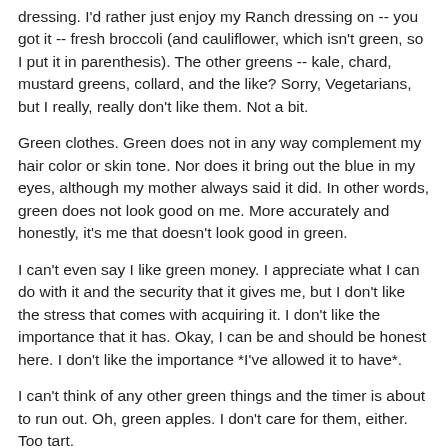dressing. I'd rather just enjoy my Ranch dressing on -- you got it -- fresh broccoli (and cauliflower, which isn't green, so I put it in parenthesis). The other greens -- kale, chard, mustard greens, collard, and the like? Sorry, Vegetarians, but I really, really don't like them. Not a bit.
Green clothes. Green does not in any way complement my hair color or skin tone. Nor does it bring out the blue in my eyes, although my mother always said it did. In other words, green does not look good on me. More accurately and honestly, it's me that doesn't look good in green.
I can't even say I like green money. I appreciate what I can do with it and the security that it gives me, but I don't like the stress that comes with acquiring it. I don't like the importance that it has. Okay, I can be and should be honest here. I don't like the importance *I've allowed it to have*.
I can't think of any other green things and the timer is about to run out. Oh, green apples. I don't care for them, either. Too tart.
Somethingmore from